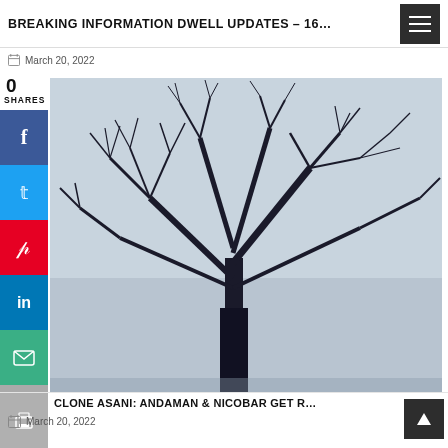BREAKING INFORMATION DWELL UPDATES – 16…
March 20, 2022
0
SHARES
[Figure (photo): Black and white photo of bare tree branches against a grey sky]
CLONE ASANI: ANDAMAN & NICOBAR GET R…
March 20, 2022